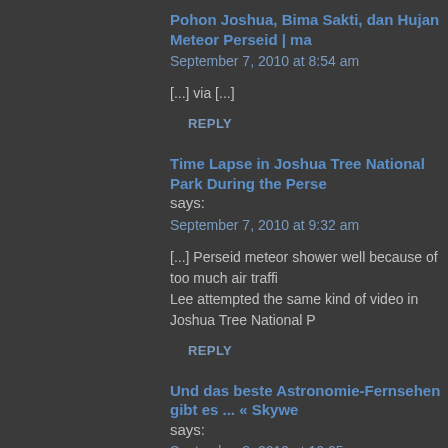Pohon Joshua, Bima Sakti, dan Hujan Meteor Perseid | ma...
September 7, 2010 at 8:54 am
[...] via [...]
REPLY
Time Lapse in Joshua Tree National Park During the Perse... says:
September 7, 2010 at 9:32 am
[...] Perseid meteor shower well because of too much air traffi... Lee attempted the same kind of video in Joshua Tree National P...
REPLY
Und das beste Astronomie-Fernsehen gibt es ... « Skywe... says:
September 8, 2010 at 10:05 am
[...] Zeitrafferfilm des Himmels über dem Joshua Tree NP zur Ze...
REPLY
Perseid Meteor Shower (Timelapse Video) | Macer?'e...